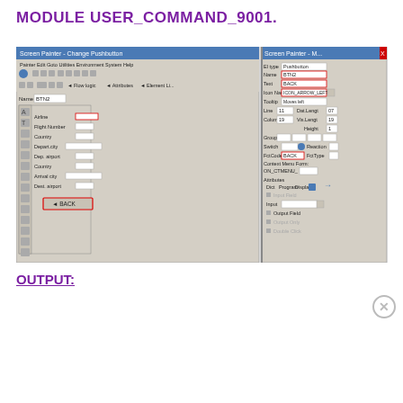MODULE USER_COMMAND_9001.
[Figure (screenshot): Screen Painter - Change Pushbutton window showing BTN2 element configuration with BACK button, ICON_ARROW_LEFT icon, and two properties panels on the right showing element attributes including Input/Output Field settings for VIA_SPFI.CARRIO]
OUTPUT:
[Figure (screenshot): DuckDuckGo advertisement banner with text 'Search, browse, and email with more privacy. All in One Free App' and DuckDuckGo logo, with Advertisements label and close button]